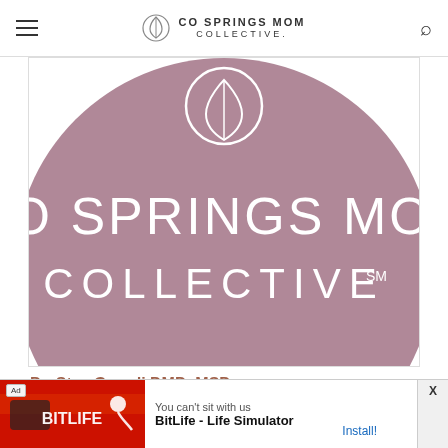CO SPRINGS MOM COLLECTIVE
[Figure (logo): Co Springs Mom Collective logo — mauve/dusty rose circle with white leaf/diamond icon at top and white text 'CO SPRINGS MOM COLLECTIVE SM' in large letters]
Dr. Stas Grandi DMD, MSD
Dentists  Home Services
0300 W Grace Dr, Littleton, CO 80122, USA
[Figure (screenshot): Ad banner: BitLife - Life Simulator with Install button]